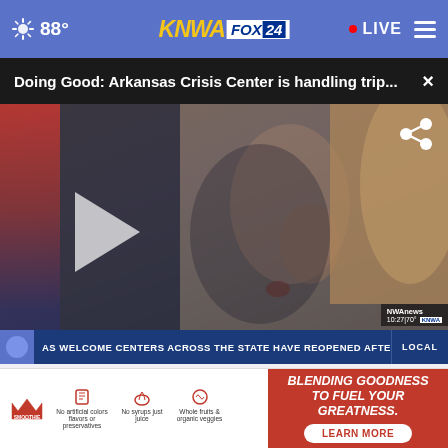88° KNWA FOX24 • LIVE
Doing Good: Arkansas Crisis Center is handling trip... ×
[Figure (screenshot): Video thumbnail showing a woman's face in profile with a play button overlay. Bottom ticker reads: AS WELCOME CENTERS ACROSS THE STATE HAVE REOPENED AFTER CLOSING IN M... LOCAL. Watermark shows NWAnews 10:27|70° KNWA.]
ARKANSAS
POWE R [ball icon]
[Figure (photo): Smoothie King advertisement banner. Left side white background with Smoothie King logo and icons with text: No artificial colors flavors or preservatives, No syrups just juice, Whole fruits & organic veggies. Right side red background with text: BLENDING GOODNESS TO FUEL YOUR GREATNESS. LEARN MORE button.]
August 29, 2022